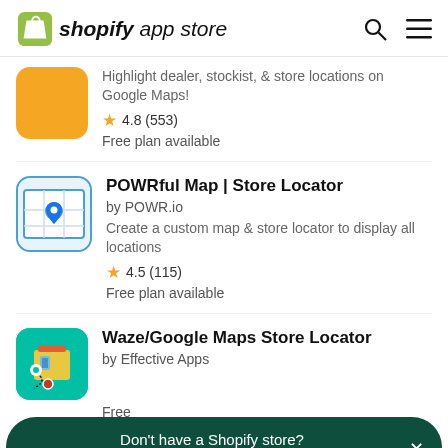shopify app store
Highlight dealer, stockist, & store locations on Google Maps!
4.8 (553)
Free plan available
POWRful Map | Store Locator
by POWR.io
Create a custom map & store locator to display all locations
4.5 (115)
Free plan available
Waze/Google Maps Store Locator
by Effective Apps
Free
Don't have a Shopify store?
Start your free trial →